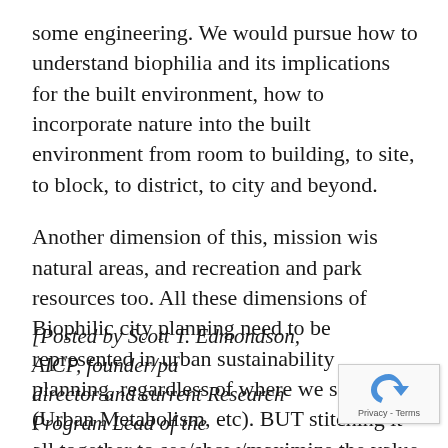some engineering.  We would pursue how to understand biophilia and its implications for the built environment, how to incorporate nature into the built environment from room to building, to site, to block, to district, to city and beyond.
Another dimension of this, mission wis natural areas, and recreation and park resources too. All these dimensions of Biophilic city planning need to be represented in urban sustainability planning, regardless of where we situate it (Urban Metabolism, etc).  BUT stitching it all together to see/show/maximize the value generated for the whole city would be Planning’s, “job!”
[Posted by Scott T. Edmondson, AICP, founder/pa director and current Research Program Lead of the